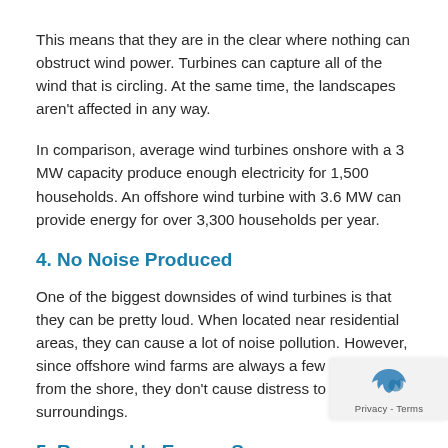This means that they are in the clear where nothing can obstruct wind power. Turbines can capture all of the wind that is circling. At the same time, the landscapes aren't affected in any way.
In comparison, average wind turbines onshore with a 3 MW capacity produce enough electricity for 1,500 households. An offshore wind turbine with 3.6 MW can provide energy for over 3,300 households per year.
4. No Noise Produced
One of the biggest downsides of wind turbines is that they can be pretty loud. When located near residential areas, they can cause a lot of noise pollution. However, since offshore wind farms are always a few miles away from the shore, they don't cause distress to their surroundings.
5. Renewable Energy Sources
The majority of traditional energy sources use resources that aren't renewable. The development of industries and human